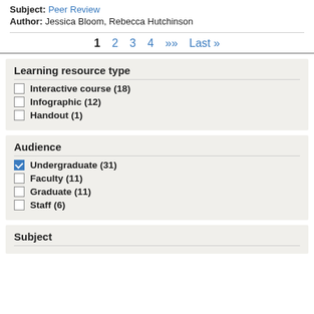Subject: Peer Review
Author: Jessica Bloom, Rebecca Hutchinson
1  2  3  4  >>  Last »
Learning resource type
Interactive course (18)
Infographic (12)
Handout (1)
Audience
Undergraduate (31)
Faculty (11)
Graduate (11)
Staff (6)
Subject